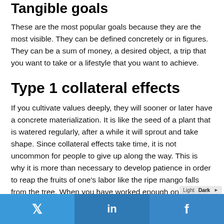Tangible goals
These are the most popular goals because they are the most visible. They can be defined concretely or in figures. They can be a sum of money, a desired object, a trip that you want to take or a lifestyle that you want to achieve.
Type 1 collateral effects
If you cultivate values deeply, they will sooner or later have a concrete materialization. It is like the seed of a plant that is watered regularly, after a while it will sprout and take shape. Since collateral effects take time, it is not uncommon for people to give up along the way. This is why it is more than necessary to develop patience in order to reap the fruits of one's labor like the ripe mango falls from the tree. When you have worked enough on yourself, you have developed your level of consciousness. This is necessarily accompanied in time by tangible achievements in line with your level. F...